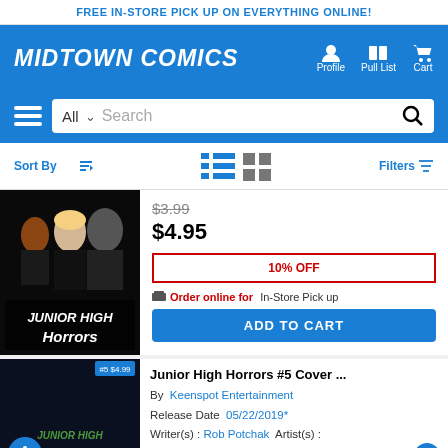FREE IN-STORE PICK UP ON EVERYTHING ONLINE!
[Figure (logo): Midtown Comics logo with Profile, Pull List, Cart navigation icons]
[Figure (screenshot): Search bar with All category dropdown and search field]
Sort By | Filters
[Figure (photo): Junior High Horrors comic book cover showing characters in black and dark tones]
$3.99 (strikethrough) $4.95
10% OFF
Order online for In-Store Pick up
ADD TO CART
[Figure (photo): Junior High Horrors #5 cover thumbnail with accessibility icon overlay]
Junior High Horrors #5 Cover ...
By Keenspot Entertainment
Release Date 05/22/2019*
Writer(s) : Rob Potchak Artist(s) :
Billy Parker Eric Kent